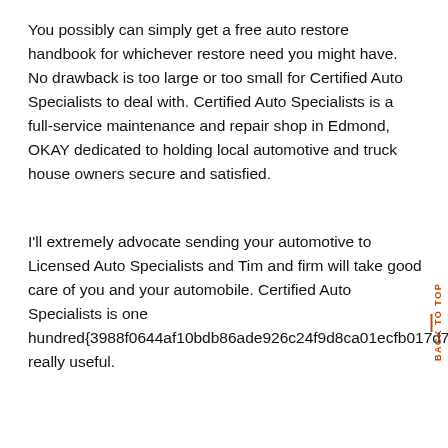You possibly can simply get a free auto restore handbook for whichever restore need you might have. No drawback is too large or too small for Certified Auto Specialists to deal with. Certified Auto Specialists is a full-service maintenance and repair shop in Edmond, OKAY dedicated to holding local automotive and truck house owners secure and satisfied.
I'll extremely advocate sending your automotive to Licensed Auto Specialists and Tim and firm will take good care of you and your automobile. Certified Auto Specialists is one hundred{3988f0644af10bdb86ade926c24f9d8ca01ecfb017d7721b8530af7bf38863d} really useful.